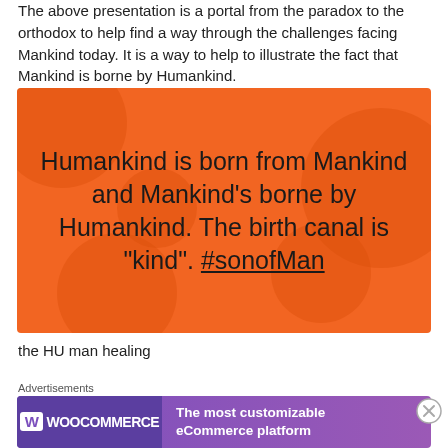The above presentation is a portal from the paradox to the orthodox to help find a way through the challenges facing Mankind today. It is a way to help to illustrate the fact that Mankind is borne by Humankind.
[Figure (illustration): Orange background image with darker orange decorative circular patterns, containing centered black text: 'Humankind is born from Mankind and Mankind's borne by Humankind. The birth canal is "kind". #sonofMan' (with #sonofMan underlined)]
the HU man healing
Delusional thinking is an inevitable consequence of /
Advertisements
[Figure (screenshot): WooCommerce advertisement banner with purple background. Left side shows WooCommerce logo (W icon + WooCommerce text). Right side text: 'The most customizable eCommerce platform']